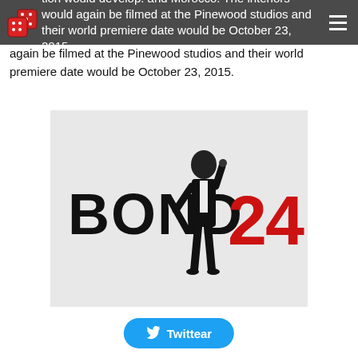tion would develop. and Morocco. The interiors would again be filmed at the Pinewood studios and their world premiere date would be October 23, 2015.
again be filmed at the Pinewood studios and their world premiere date would be October 23, 2015.
[Figure (photo): BOND 24 promotional image showing a man in a tuxedo standing with text 'BOND' in black and '24' in red on a light grey background]
Twittear